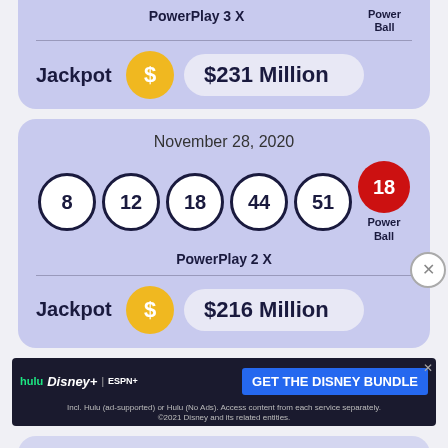PowerPlay 3 X | Power Ball
Jackpot $231 Million
November 28, 2020
8 12 18 44 51 | PowerBall: 18
PowerPlay 2 X | Power Ball
Jackpot $216 Million
[Figure (infographic): Disney bundle advertisement: hulu, Disney+, ESPN+ with GET THE DISNEY BUNDLE CTA button]